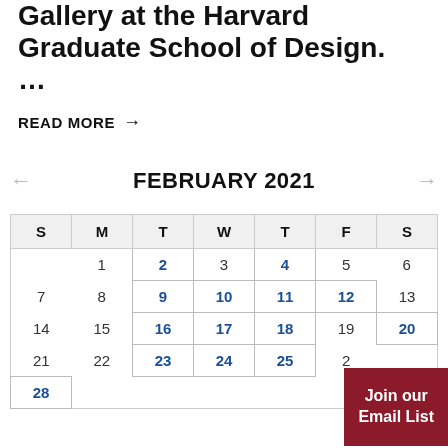Gallery at the Harvard Graduate School of Design. ...
READ MORE →
FEBRUARY 2021
| S | M | T | W | T | F | S |
| --- | --- | --- | --- | --- | --- | --- |
|  | 1 | 2 | 3 | 4 | 5 | 6 |
| 7 | 8 | 9 | 10 | 11 | 12 | 13 |
| 14 | 15 | 16 | 17 | 18 | 19 | 20 |
| 21 | 22 | 23 | 24 | 25 | 26 | 27 |
| 28 |  |  |  |  |  |  |
Join our Email List